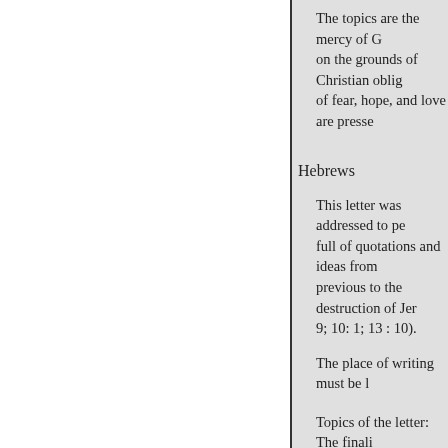The topics are the mercy of G... on the grounds of Christian oblig... of fear, hope, and love are presse...
Hebrews
This letter was addressed to pe... full of quotations and ideas from... previous to the destruction of Jer... 9; 10: 1; 13 : 10).
The place of writing must be l...
Topics of the letter: The finali... Moses; the priesthood of Christ;... of Christ.
The central portion of each of... the last division is a most grave a... Christ's priestly work.-Lightfoot.
We do not know who the author... found able advocates.